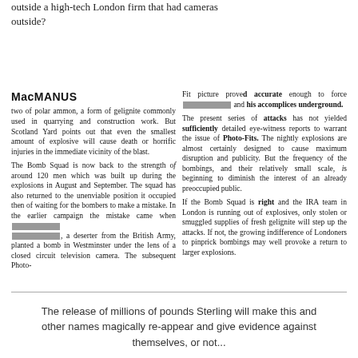outside a high-tech London firm that had cameras outside?
MacMANUS
two of polar ammon, a form of gelignite commonly used in quarrying and construction work. But Scotland Yard points out that even the smallest amount of explosive will cause death or horrific injuries in the immediate vicinity of the blast.

The Bomb Squad is now back to the strength of around 120 men which was built up during the explosions in August and September. The squad has also returned to the unenviable position it occupied then of waiting for the bombers to make a mistake. In the earlier campaign the mistake came when [REDACTED], a deserter from the British Army, planted a bomb in Westminster under the lens of a closed circuit television camera. The subsequent Photo-
Fit picture proved accurate enough to force [REDACTED] and his accomplices underground.

The present series of attacks has not yielded sufficiently detailed eye-witness reports to warrant the issue of Photo-Fits. The nightly explosions are almost certainly designed to cause maximum disruption and publicity. But the frequency of the bombings, and their relatively small scale, is beginning to diminish the interest of an already preoccupied public.

If the Bomb Squad is right and the IRA team in London is running out of explosives, only stolen or smuggled supplies of fresh gelignite will step up the attacks. If not, the growing indifference of Londoners to pinprick bombings may well provoke a return to larger explosions.
The release of millions of pounds Sterling will make this and other names magically re-appear and give evidence against themselves, or not...